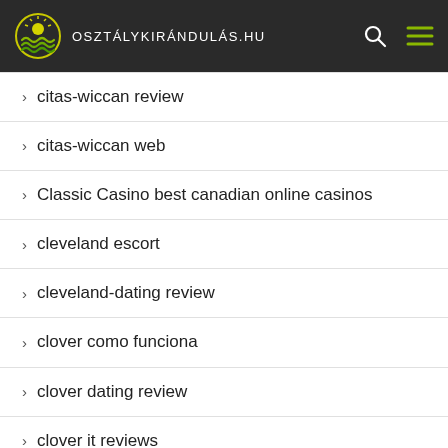osztálykirándulás.hu
citas-wiccan review
citas-wiccan web
Classic Casino best canadian online casinos
cleveland escort
cleveland-dating review
clover como funciona
clover dating review
clover it reviews
Clover profili
Clover review